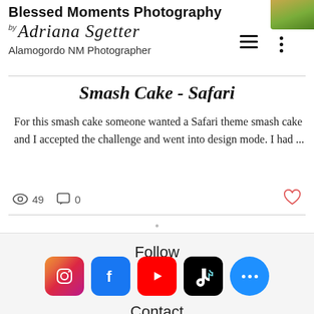Blessed Moments Photography by Adriana Sgetter
Alamogordo NM Photographer
Smash Cake - Safari
For this smash cake someone wanted a Safari theme smash cake and I accepted the challenge and went into design mode. I had ...
49 views  0 comments
Follow
[Figure (infographic): Social media icons: Instagram (pink gradient), Facebook (blue), YouTube (red), TikTok (black), and a blue more button with ellipsis]
Contact